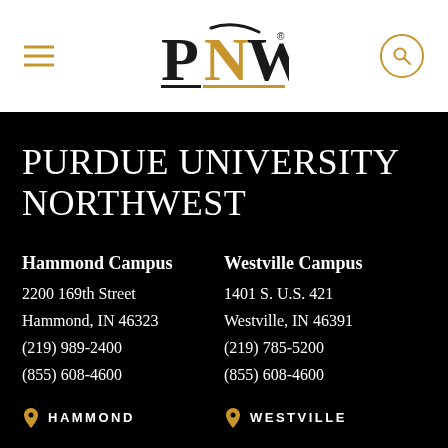PNW - Purdue University Northwest
PURDUE UNIVERSITY NORTHWEST
Hammond Campus
2200 169th Street
Hammond, IN 46323
(219) 989-2400
(855) 608-4600
Westville Campus
1401 S. U.S. 421
Westville, IN 46391
(219) 785-5200
(855) 608-4600
HAMMOND
WESTVILLE